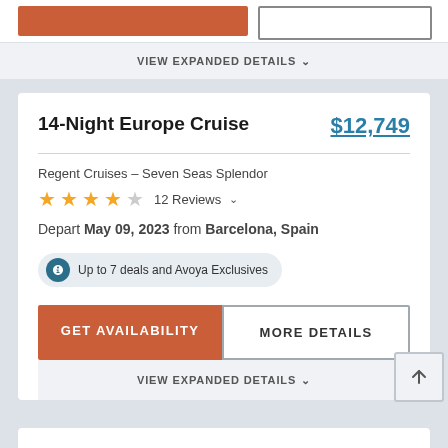[Figure (screenshot): Cropped bottom of a previous cruise listing card showing red GET AVAILABILITY button and outlined MORE DETAILS button]
VIEW EXPANDED DETAILS
14-Night Europe Cruise
$12,749
Regent Cruises – Seven Seas Splendor
★★★★☆ 12 Reviews
Depart May 09, 2023 from Barcelona, Spain
Up to 7 deals and Avoya Exclusives
GET AVAILABILITY
MORE DETAILS
VIEW EXPANDED DETAILS
30-Night Europe Cruise
$19,099